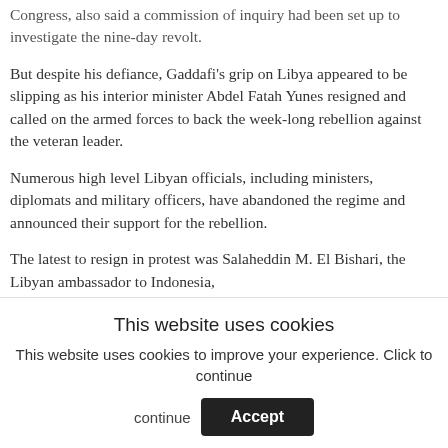Congress, also said a commission of inquiry had been set up to investigate the nine-day revolt.
But despite his defiance, Gaddafi’s grip on Libya appeared to be slipping as his interior minister Abdel Fatah Yunes resigned and called on the armed forces to back the week-long rebellion against the veteran leader.
Numerous high level Libyan officials, including ministers, diplomats and military officers, have abandoned the regime and announced their support for the rebellion.
The latest to resign in protest was Salaheddin M. El Bishari, the Libyan ambassador to Indonesia,
This website uses cookies
This website uses cookies to improve your experience. Click to continue
Accept